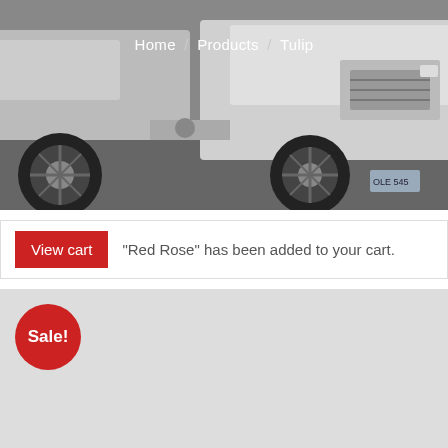[Figure (photo): Hero image showing commercial trucks/cab chassis vehicles parked on a lot, photographed from a low angle showing wheels and front grille area.]
Home / Products / Tulip
"Red Rose" has been added to your cart.
[Figure (photo): Product image placeholder (gray rectangle) with a red Sale! badge in the top-left corner.]